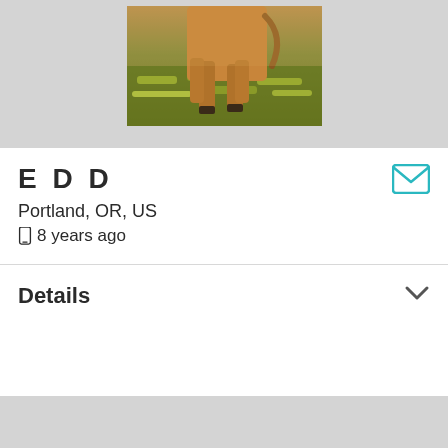[Figure (photo): A brown horse or animal near grass and hay, cropped to show lower body area, outdoor setting]
E D D
Portland, OR, US
📱 8 years ago
Details